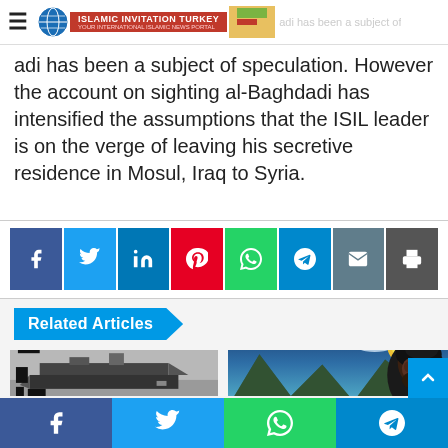Islamic Invitation Turkey - logo/site header
adi has been a subject of speculation. However the account on sighting al-Baghdadi has intensified the assumptions that the ISIL leader is on the verge of leaving his secretive residence in Mosul, Iraq to Syria.
[Figure (infographic): Social media sharing buttons: Facebook, Twitter, LinkedIn, Pinterest, WhatsApp, Telegram, Email, Print]
Related Articles
[Figure (photo): Grayscale aerial or surveillance photo of a ship/vessel on water with redacted black rectangles]
[Figure (illustration): Painting of a person with dark turban/head covering against a dramatic sky with mountains and waves]
[Figure (infographic): Bottom social share bar: Facebook, Twitter, WhatsApp, Telegram]